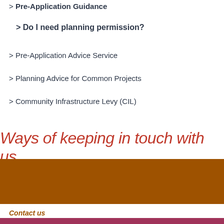> Pre-Application Guidance
> Do I need planning permission?
> Pre-Application Advice Service
> Planning Advice for Common Projects
> Community Infrastructure Levy (CIL)
Ways of keeping in touch with us
[Figure (illustration): Brown banner with white pencil/edit icon and underline]
Contact us
For non-urgent queries you can use our online contact form.